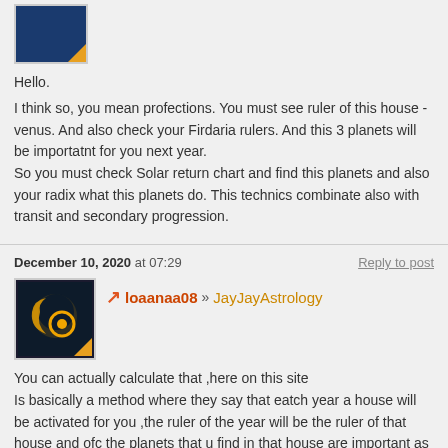[Figure (photo): User avatar - dark blue background with orange corner accent, partially visible at top]
Hello.

I think so, you mean profections. You must see ruler of this house - venus. And also check your Firdaria rulers. And this 3 planets will be importatnt for you next year.
So you must check Solar return chart and find this planets and also your radix what this planets do. This technics combinate also with transit and secondary progression.
December 10, 2020 at 07:29
Reply to post
[Figure (logo): User avatar for loaanaa08 - dark background with crescent moon and golden circle, orange corner accent]
loaanaa08 » JayJayAstrology
You can actually calculate that ,here on this site
Is basically a method where they say that eatch year a house will be activated for you ,the ruler of the year will be the ruler of that house and ofc the planets that u find in that house are important as well .

Also it´s starts when you 1 year old your 2nd house gets activated then with 2